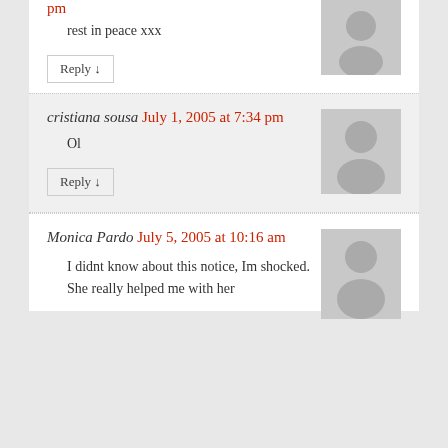pm
rest in peace xxx
Reply ↓
cristiana sousa July 1, 2005 at 7:34 pm
Ol
Reply ↓
Monica Pardo July 5, 2005 at 10:16 am
I didnt know about this notice, Im shocked. She really helped me with her